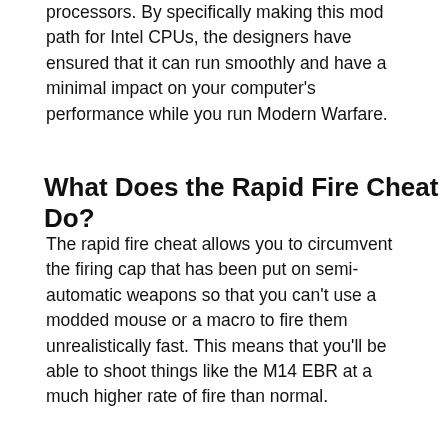processors. By specifically making this mod path for Intel CPUs, the designers have ensured that it can run smoothly and have a minimal impact on your computer's performance while you run Modern Warfare.
What Does the Rapid Fire Cheat Do?
The rapid fire cheat allows you to circumvent the firing cap that has been put on semi-automatic weapons so that you can't use a modded mouse or a macro to fire them unrealistically fast. This means that you'll be able to shoot things like the M14 EBR at a much higher rate of fire than normal.